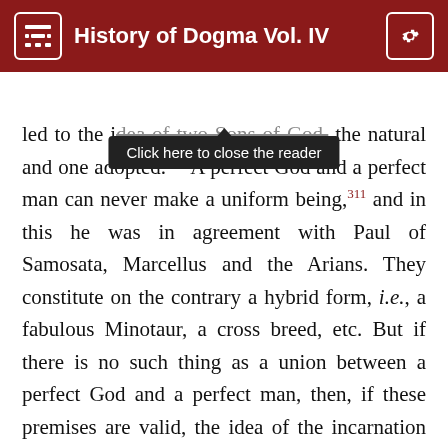History of Dogma Vol. IV
Click here to close the reader
led to the idea of two Sons of God, the natural and one adopted.310 A perfect God and a perfect man can never make a uniform being,311 and in this he was in agreement with Paul of Samosata, Marcellus and the Arians. They constitute on the contrary a hybrid form, i.e., a fabulous Minotaur, a cross breed, etc. But if there is no such thing as a union between a perfect God and a perfect man, then, if these premises are valid, the idea of the incarnation of God which is the whole point in question, disappears. And further the unchangeableness and sinlessness of Christ disappears also, for